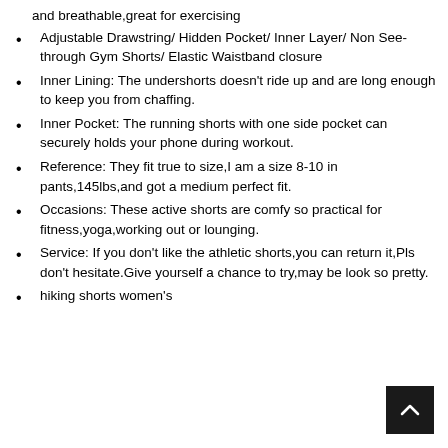and breathable,great for exercising
Adjustable Drawstring/ Hidden Pocket/ Inner Layer/ Non See-through Gym Shorts/ Elastic Waistband closure
Inner Lining: The undershorts doesn't ride up and are long enough to keep you from chaffing.
Inner Pocket: The running shorts with one side pocket can securely holds your phone during workout.
Reference: They fit true to size,I am a size 8-10 in pants,145lbs,and got a medium perfect fit.
Occasions: These active shorts are comfy so practical for fitness,yoga,working out or lounging.
Service: If you don't like the athletic shorts,you can return it,Pls don't hesitate.Give yourself a chance to try,may be look so pretty.
hiking shorts women's